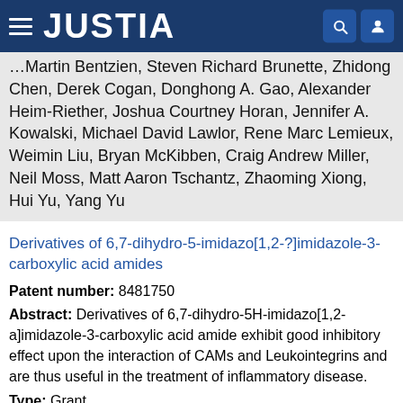JUSTIA
Martin Bentzien, Steven Richard Brunette, Zhidong Chen, Derek Cogan, Donghong A. Gao, Alexander Heim-Riether, Joshua Courtney Horan, Jennifer A. Kowalski, Michael David Lawlor, Rene Marc Lemieux, Weimin Liu, Bryan McKibben, Craig Andrew Miller, Neil Moss, Matt Aaron Tschantz, Zhaoming Xiong, Hui Yu, Yang Yu
Derivatives of 6,7-dihydro-5-imidazo[1,2-?]imidazole-3-carboxylic acid amides
Patent number: 8481750
Abstract: Derivatives of 6,7-dihydro-5H-imidazo[1,2-a]imidazole-3-carboxylic acid amide exhibit good inhibitory effect upon the interaction of CAMs and Leukointegrins and are thus useful in the treatment of inflammatory disease.
Type: Grant